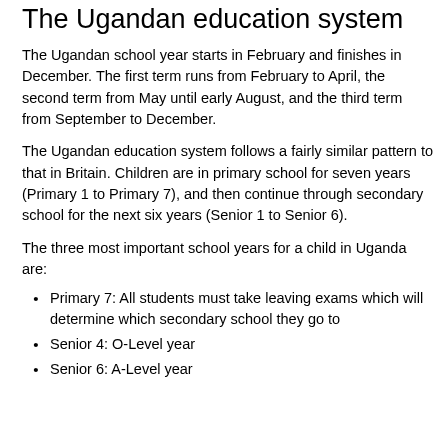The Ugandan education system
The Ugandan school year starts in February and finishes in December. The first term runs from February to April, the second term from May until early August, and the third term from September to December.
The Ugandan education system follows a fairly similar pattern to that in Britain. Children are in primary school for seven years (Primary 1 to Primary 7), and then continue through secondary school for the next six years (Senior 1 to Senior 6).
The three most important school years for a child in Uganda are:
Primary 7: All students must take leaving exams which will determine which secondary school they go to
Senior 4: O-Level year
Senior 6: A-Level year